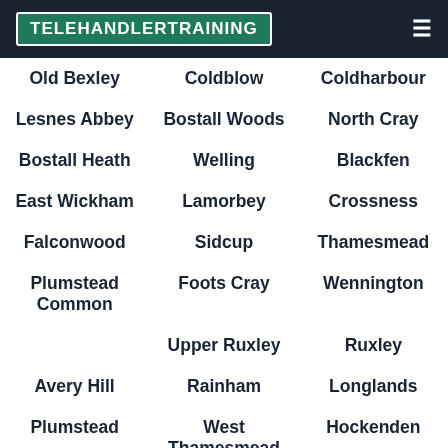TELEHANDLERTRAINING
Old Bexley
Coldblow
Coldharbour
Lesnes Abbey
Bostall Woods
North Cray
Bostall Heath
Welling
Blackfen
East Wickham
Lamorbey
Crossness
Falconwood
Sidcup
Thamesmead
Plumstead Common
Foots Cray
Wennington
Upper Ruxley
Ruxley
Avery Hill
Rainham
Longlands
Plumstead
West Thamesmead
Hockenden